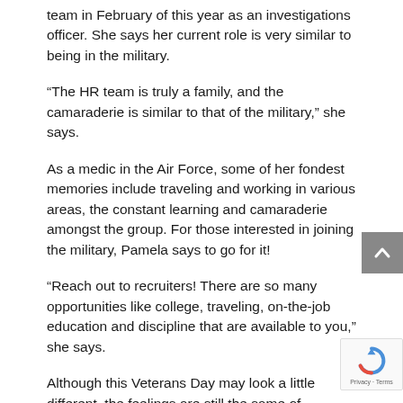team in February of this year as an investigations officer. She says her current role is very similar to being in the military.
“The HR team is truly a family, and the camaraderie is similar to that of the military,” she says.
As a medic in the Air Force, some of her fondest memories include traveling and working in various areas, the constant learning and camaraderie amongst the group. For those interested in joining the military, Pamela says to go for it!
“Reach out to recruiters! There are so many opportunities like college, traveling, on-the-job education and discipline that are available to you,” she says.
Although this Veterans Day may look a little different, the feelings are still the same of...